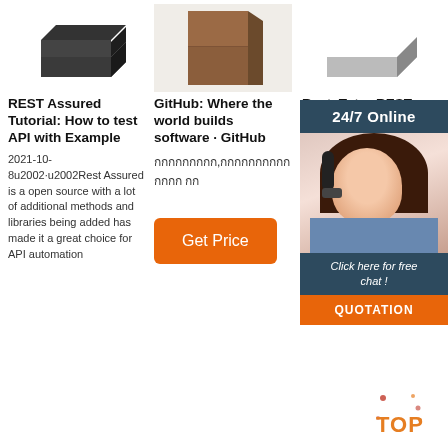[Figure (photo): Three dark charcoal/graphite blocks stacked]
[Figure (photo): Brown rectangular block/book against white background]
[Figure (photo): Grey stone/graphite block]
[Figure (infographic): 24/7 Online chat overlay ad with female agent and QUOTATION button]
REST Assured Tutorial: How to test API with Example
GitHub: Where the world builds software · GitHub
Rest. Tutor REST Autom Testing
2021-10-8u2002·u2002Rest Assured is a open source with a lot of additional methods and libraries being added has made it a great choice for API automation
กกกกกกกกก,กกกกกกกกกกกกกก กก
2021-10u200... is a series of Rest Assured Tutorial which is one of the most used library for REST API Automation Testing. Rest-
[Figure (other): Get Price orange button]
[Figure (logo): TOP logo with splatter drops in red/orange]